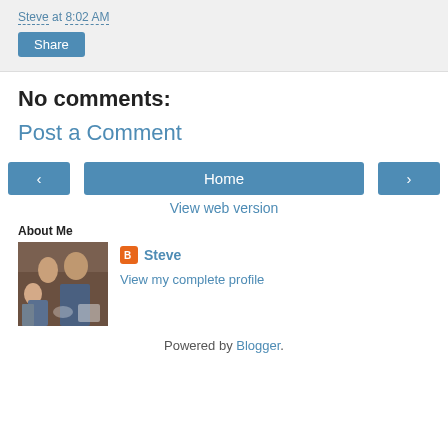Steve at 8:02 AM
Share
No comments:
Post a Comment
< Home >
View web version
About Me
[Figure (photo): Profile photo of Steve with family]
Steve
View my complete profile
Powered by Blogger.